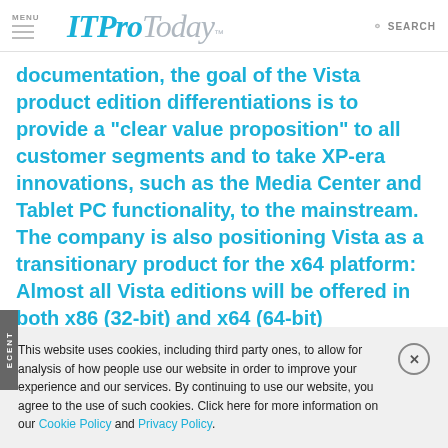MENU | ITProToday™ | SEARCH
documentation, the goal of the Vista product edition differentiations is to provide a "clear value proposition" to all customer segments and to take XP-era innovations, such as the Media Center and Tablet PC functionality, to the mainstream. The company is also positioning Vista as a transitionary product for the x64 platform: Almost all Vista editions will be offered in both x86 (32-bit) and x64 (64-bit)
This website uses cookies, including third party ones, to allow for analysis of how people use our website in order to improve your experience and our services. By continuing to use our website, you agree to the use of such cookies. Click here for more information on our Cookie Policy and Privacy Policy.